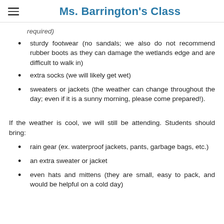Ms. Barrington's Class
required)
sturdy footwear (no sandals; we also do not recommend rubber boots as they can damage the wetlands edge and are difficult to walk in)
extra socks (we will likely get wet)
sweaters or jackets (the weather can change throughout the day; even if it is a sunny morning, please come prepared!).
If the weather is cool, we will still be attending. Students should bring:
rain gear (ex. waterproof jackets, pants, garbage bags, etc.)
an extra sweater or jacket
even hats and mittens (they are small, easy to pack, and would be helpful on a cold day)